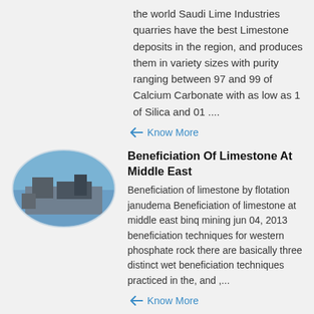the world Saudi Lime Industries quarries have the best Limestone deposits in the region, and produces them in variety sizes with purity ranging between 97 and 99 of Calcium Carbonate with as low as 1 of Silica and 01 ....
Know More
[Figure (photo): Oval-shaped photo of industrial mining or processing equipment with blue sky background]
Beneficiation Of Limestone At Middle East
Beneficiation of limestone by flotation janudema Beneficiation of limestone at middle east binq mining jun 04, 2013 beneficiation techniques for western phosphate rock there are basically three distinct wet beneficiation techniques practiced in the, and ,...
Know More
[Figure (photo): Oval-shaped photo of mining crusher or conveyor equipment]
crusher activity east